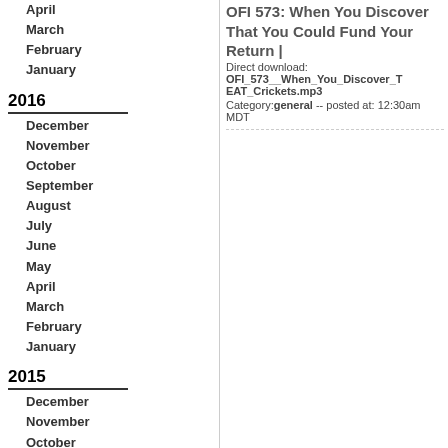April
March
February
January
2016
December
November
October
September
August
July
June
May
April
March
February
January
2015
December
November
October
September
August
July
June
May
April
March
February
January
OFI 573: When You Discover That You Could Fund Your Return |
Direct download: OFI_573__When_You_Discover_T EAT_Crickets.mp3
Category: general -- posted at: 12:30am MDT